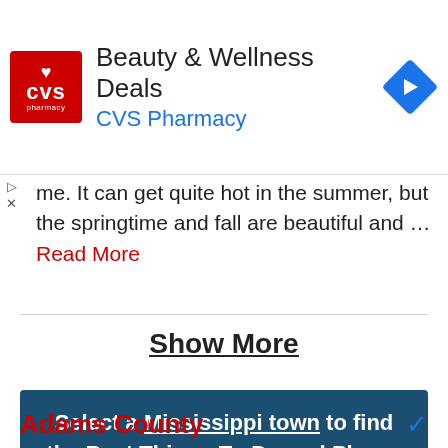[Figure (other): CVS Pharmacy advertisement banner with logo, title 'Beauty & Wellness Deals', subtitle 'CVS Pharmacy', and a blue navigation arrow icon on the right]
me. It can get quite hot in the summer, but the springtime and fall are beautiful and … Read More
Show More
Select a Mississippi town to find the Best Things-To-Do and Places To Go around you
Adams County